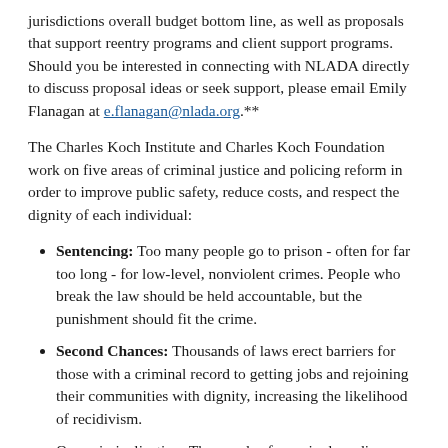jurisdictions overall budget bottom line, as well as proposals that support reentry programs and client support programs. Should you be interested in connecting with NLADA directly to discuss proposal ideas or seek support, please email Emily Flanagan at e.flanagan@nlada.org.**
The Charles Koch Institute and Charles Koch Foundation work on five areas of criminal justice and policing reform in order to improve public safety, reduce costs, and respect the dignity of each individual:
Sentencing: Too many people go to prison - often for far too long - for low-level, nonviolent crimes. People who break the law should be held accountable, but the punishment should fit the crime.
Second Chances: Thousands of laws erect barriers for those with a criminal record to getting jobs and rejoining their communities with dignity, increasing the likelihood of recidivism.
Overcriminalization: Thousands of seemingly ordinary